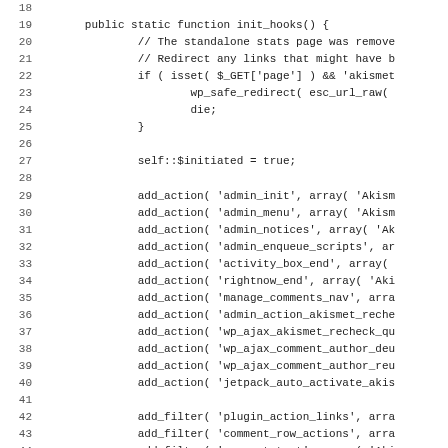[Figure (screenshot): Source code listing showing PHP function init_hooks() with line numbers 19-50, including add_action and add_filter calls, displayed in monospace font on white background.]